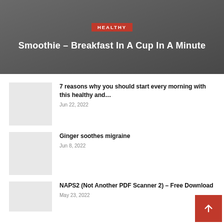HEALTHY
Smoothie – Breakfast In A Cup In A Minute
7 reasons why you should start every morning with this healthy and… | Jun 22, 2022
Ginger soothes migraine | Jun 8, 2022
NAPS2 (Not Another PDF Scanner 2) – Free Download | May 23, 2022
How to clear error C03FF on Konica Minolta bizhub 215 | Mar 30, 2022